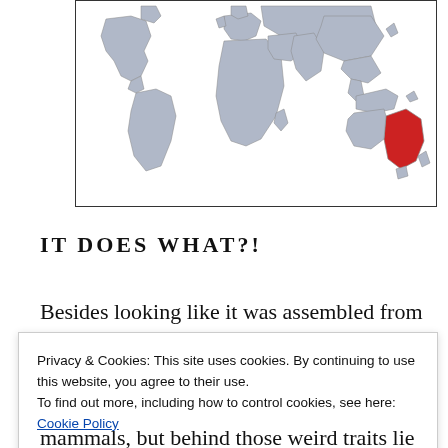[Figure (map): World map with eastern Australia highlighted in red, all other countries in light blue-grey]
IT DOES WHAT?!
Besides looking like it was assembled from
Privacy & Cookies: This site uses cookies. By continuing to use this website, you agree to their use.
To find out more, including how to control cookies, see here:
Cookie Policy
mammals, but behind those weird traits lie